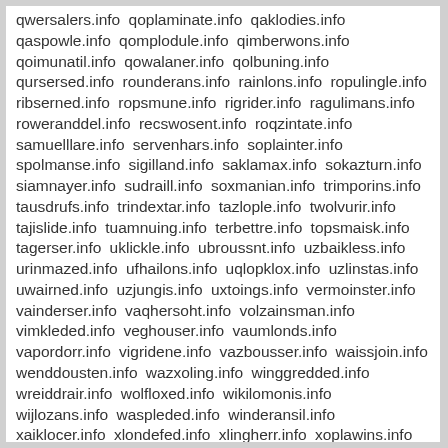qwersalers.info qoplaminate.info qaklodies.info qaspowle.info qomplodule.info qimberwons.info qoimunatil.info qowalaner.info qolbuning.info qursersed.info rounderans.info rainlons.info ropulingle.info ribserned.info ropsmune.info rigrider.info ragulimans.info roweranddel.info recswosent.info roqzintate.info samuelllare.info servenhars.info soplainter.info spolmanse.info sigilland.info saklamax.info sokazturn.info siamnayer.info sudraill.info soxmanian.info trimporins.info tausdrufs.info trindextar.info tazlople.info twolvurir.info tajislide.info tuamnuing.info terbettre.info topsmaisk.info tagerser.info uklickle.info ubroussnt.info uzbaikless.info urinmazed.info ufhailons.info uqlopklox.info uzlinstas.info uwairned.info uzjungis.info uxtoings.info vermoinster.info vainderser.info vaqhersoht.info volzainsman.info vimkleded.info veghouser.info vaumlonds.info vapordorr.info vigridene.info vazbousser.info waissjoin.info wenddousten.info wazxoling.info winggredded.info wreiddrair.info wolfloxed.info wikilomonis.info wijlozans.info waspleded.info winderansil.info xaiklocer.info xlondefed.info xlingherr.info xoplawins.info